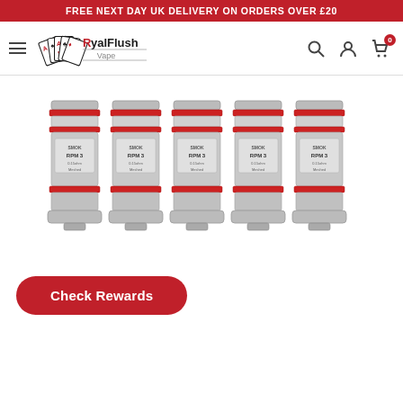FREE NEXT DAY UK DELIVERY ON ORDERS OVER £20
[Figure (logo): RoyalFlush Vape logo with playing cards graphic and navigation icons including search, account, and cart with badge showing 0]
[Figure (photo): Five SMOK RPM 3 replacement coils in a row, silver cylindrical coils with red accent rings]
Check Rewards